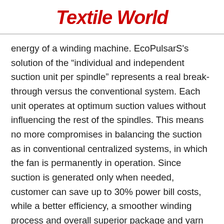Textile World
energy of a winding machine. EcoPulsarS's solution of the “individual and independent suction unit per spindle” represents a real break-through versus the conventional system. Each unit operates at optimum suction values without influencing the rest of the spindles. This means no more compromises in balancing the suction as in conventional centralized systems, in which the fan is permanently in operation. Since suction is generated only when needed, customer can save up to 30% power bill costs, while a better efficiency, a smoother winding process and overall superior package and yarn quality are achieved too.
Reduction of noise is another key aspect. EcoPulsarS combining all new features and design has created an environment in which each part of the machine can operate at its optimum level. Spindles and bobbins feeding systems set